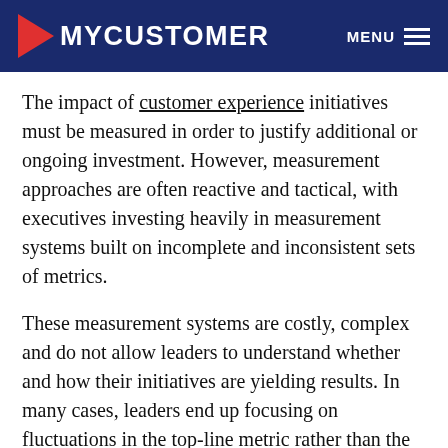MYCUSTOMER   MENU
The impact of customer experience initiatives must be measured in order to justify additional or ongoing investment. However, measurement approaches are often reactive and tactical, with executives investing heavily in measurement systems built on incomplete and inconsistent sets of metrics.
These measurement systems are costly, complex and do not allow leaders to understand whether and how their initiatives are yielding results. In many cases, leaders end up focusing on fluctuations in the top-line metric rather than the root causes of customer dissatisfaction. Their systems are difficult to use, do not quantify the link to value, and do not provide insights on how to improve actual customer…